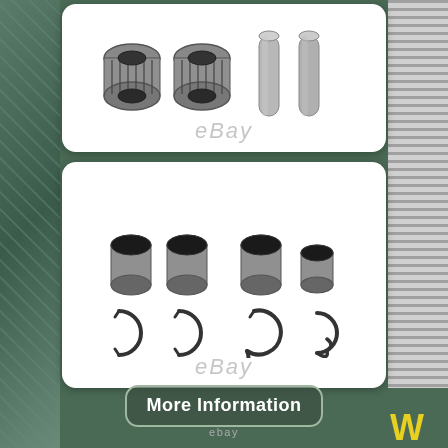[Figure (photo): Product photo showing needle roller bearings (two cylindrical mesh-type bearings) and two cylindrical pins/shafts on white background with eBay watermark]
[Figure (photo): Product photo showing four small cylindrical barrel-shaped metal rollers and four circlip/snap rings on white background with eBay watermark]
[Figure (other): More Information button with rounded rectangle border and eBay text below, on green background]